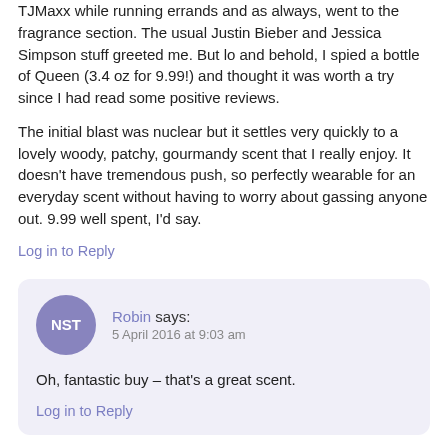TJMaxx while running errands and as always, went to the fragrance section. The usual Justin Bieber and Jessica Simpson stuff greeted me. But lo and behold, I spied a bottle of Queen (3.4 oz for 9.99!) and thought it was worth a try since I had read some positive reviews.
The initial blast was nuclear but it settles very quickly to a lovely woody, patchy, gourmandy scent that I really enjoy. It doesn't have tremendous push, so perfectly wearable for an everyday scent without having to worry about gassing anyone out. 9.99 well spent, I'd say.
Log in to Reply
Robin says:
5 April 2016 at 9:03 am
Oh, fantastic buy – that's a great scent.
Log in to Reply